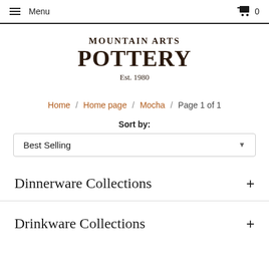Menu  0
MOUNTAIN ARTS POTTERY Est. 1980
Home / Home page / Mocha / Page 1 of 1
Sort by:
Best Selling
Dinnerware Collections +
Drinkware Collections +